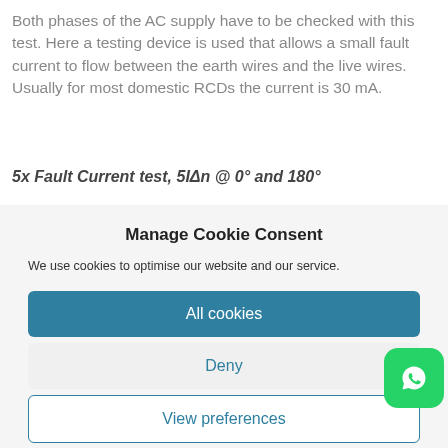Both phases of the AC supply have to be checked with this test. Here a testing device is used that allows a small fault current to flow between the earth wires and the live wires. Usually for most domestic RCDs the current is 30 mA.
5x Fault Current test, 5IΔn @ 0° and 180°
Manage Cookie Consent
We use cookies to optimise our website and our service.
All cookies
Deny
View preferences